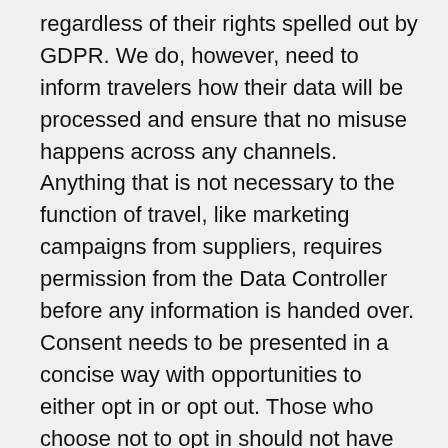regardless of their rights spelled out by GDPR. We do, however, need to inform travelers how their data will be processed and ensure that no misuse happens across any channels. Anything that is not necessary to the function of travel, like marketing campaigns from suppliers, requires permission from the Data Controller before any information is handed over. Consent needs to be presented in a concise way with opportunities to either opt in or opt out. Those who choose not to opt in should not have their silence mistaken as permission.
Missing The Deadline
Not every company will have completed the audits of their entire supply chain by May 25. However, if you can prove that you have taken reasonable efforts to